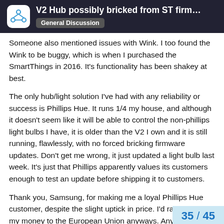V2 Hub possibly bricked from ST firmware u… | General Discussion
Someone also mentioned issues with Wink. I too found the Wink to be buggy, which is when I purchased the SmartThings in 2016. It's functionality has been shakey at best.
The only hub/light solution I've had with any reliability or success is Phillips Hue. It runs 1/4 my house, and although it doesn't seem like it will be able to control the non-phillips light bulbs I have, it is older than the V2 I own and it is still running, flawlessly, with no forced bricking firmware updates. Don't get me wrong, it just updated a light bulb last week. It's just that Phillips apparently values its customers enough to test an update before shipping it to customers.
Thank you, Samsung, for making me a loyal Phillips Hue customer, despite the slight uptick in price. I'd rather send my money to the European Union anyways. Anyone need some Sengled zigbee bulbs?
35 / 45